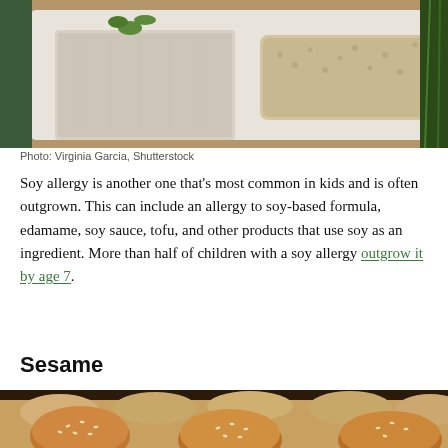[Figure (photo): Tofu blocks and tempeh on a white plate with edamame and vegetables in the background]
Photo: Virginia Garcia, Shutterstock
Soy allergy is another one that’s most common in kids and is often outgrown. This can include an allergy to soy-based formula, edamame, soy sauce, tofu, and other products that use soy as an ingredient. More than half of children with a soy allergy outgrow it by age 7.
Sesame
[Figure (photo): Sesame seed buns arranged on a baking tray, golden brown rolls topped with white sesame seeds]